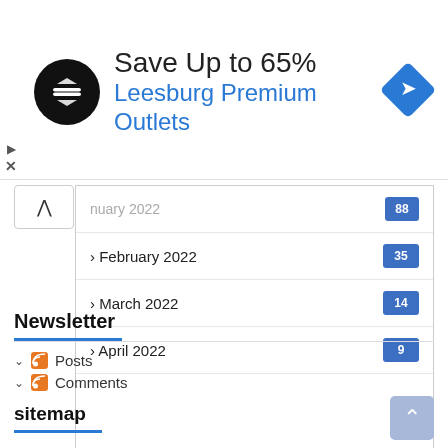[Figure (other): Advertisement banner: black circular logo with double arrow symbol, text 'Save Up to 65%' and 'Leesburg Premium Outlets' in blue, with blue navigation diamond icon on the right]
January 2022 — 88
February 2022 — 35
March 2022 — 14
April 2022 — 9
Newsletter
Posts
Comments
sitemap